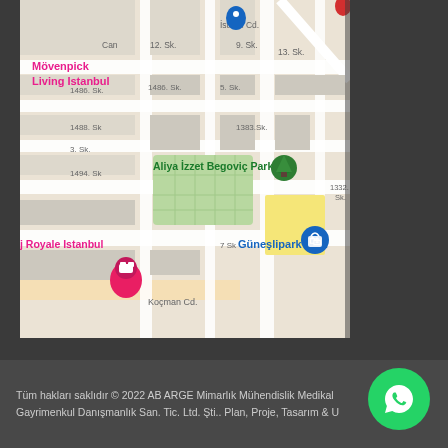[Figure (map): Google Maps screenshot showing streets around Güneşlipark AVM, Istanbul, Turkey. Includes labels for Mövenpick Living Istanbul, Aliya İzzet Begoviç Parkı, Güneşlipark AVM, LeGrand Royale Istanbul, Koçman Cd., and various street numbers (1486. Sk., 1488. Sk., 1383. Sk., 1494. Sk., 1332. Sk., 9. Sk., 13. Sk., 5. Sk., 3. Sk., 7 Sk). Map pins visible for hotel and shopping center.]
Tüm hakları saklıdır © 2022 AB ARGE Mimarlık Mühendislik Medikal Gayrimenkul Danışmanlık San. Tic. Ltd. Şti.. Plan, Proje, Tasarım & U...